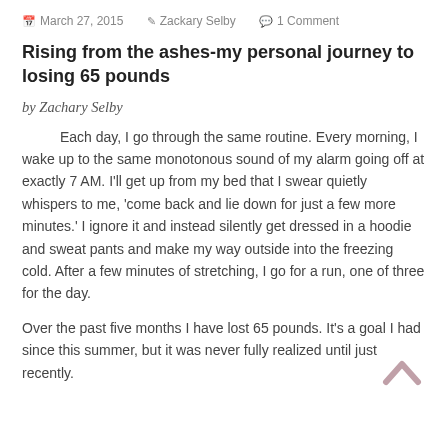March 27, 2015  Zackary Selby  1 Comment
Rising from the ashes-my personal journey to losing 65 pounds
by Zachary Selby
Each day, I go through the same routine. Every morning, I wake up to the same monotonous sound of my alarm going off at exactly 7 AM. I'll get up from my bed that I swear quietly whispers to me, 'come back and lie down for just a few more minutes.' I ignore it and instead silently get dressed in a hoodie and sweat pants and make my way outside into the freezing cold. After a few minutes of stretching, I go for a run, one of three for the day.
Over the past five months I have lost 65 pounds. It's a goal I had since this summer, but it was never fully realized until just recently.